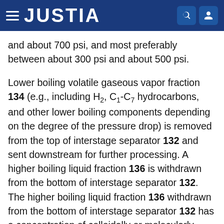JUSTIA
and about 700 psi, and most preferably between about 300 psi and about 500 psi.
Lower boiling volatile gaseous vapor fraction 134 (e.g., including H2, C1-C7 hydrocarbons, and other lower boiling components depending on the degree of the pressure drop) is removed from the top of interstage separator 132 and sent downstream for further processing. A higher boiling liquid fraction 136 is withdrawn from the bottom of interstage separator 132. The higher boiling liquid fraction 136 withdrawn from the bottom of interstage separator 132 has a concentration of colloidally or molecularly dispersed catalyst which is significantly higher than the catalyst concentration within effluent 130 from first gas-liquid two-phase hydrocracking reactor 122. The catalyst concentration is similarly significantly higher than the